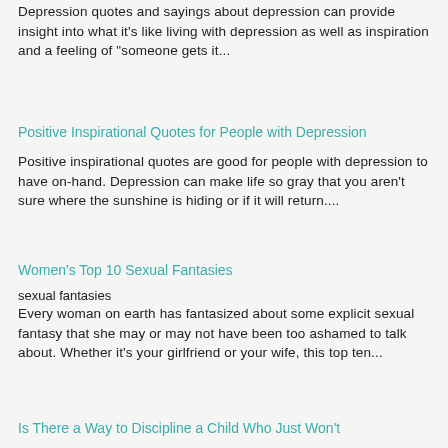Depression quotes and sayings about depression can provide insight into what it's like living with depression as well as inspiration and a feeling of "someone gets it...
Positive Inspirational Quotes for People with Depression
Positive inspirational quotes are good for people with depression to have on-hand. Depression can make life so gray that you aren't sure where the sunshine is hiding or if it will return....
Women's Top 10 Sexual Fantasies
sexual fantasies
Every woman on earth has fantasized about some explicit sexual fantasy that she may or may not have been too ashamed to talk about. Whether it's your girlfriend or your wife, this top ten...
Is There a Way to Discipline a Child Who Just Won't